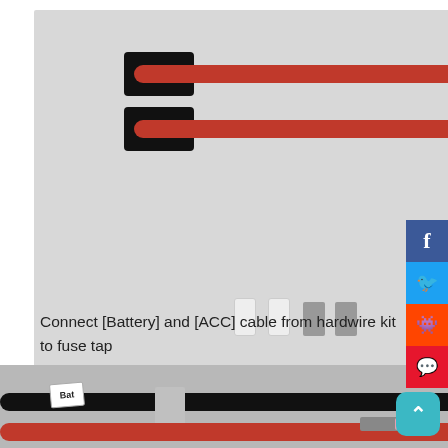[Figure (photo): Photo showing two fuse tap cables (red wires with black connectors on one end and silver terminals on the other), plus small white and silver connector components laid out on a white surface.]
Connect [Battery] and [ACC] cable from hardwire kit to fuse tap
[Figure (photo): Photo showing hardwire kit cables: a black wire labeled 'Bat', a red wire, and a yellow wire labeled 'A', with various terminals and a fork terminal visible.]